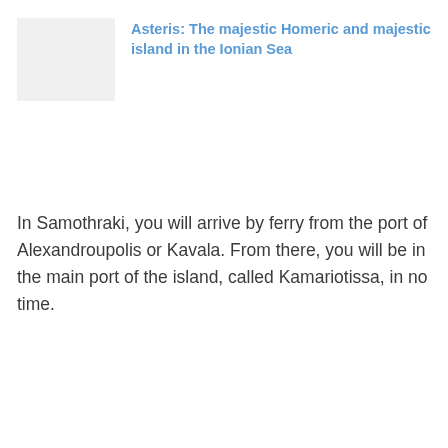[Figure (photo): Thumbnail image placeholder (light gray rectangle)]
Asteris: The majestic Homeric and majestic island in the Ionian Sea
In Samothraki, you will arrive by ferry from the port of Alexandroupolis or Kavala. From there, you will be in the main port of the island, called Kamariotissa, in no time.